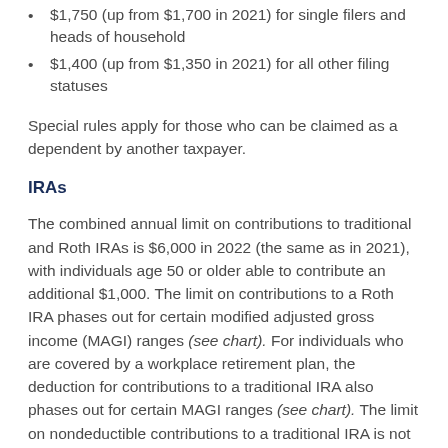$1,750 (up from $1,700 in 2021) for single filers and heads of household
$1,400 (up from $1,350 in 2021) for all other filing statuses
Special rules apply for those who can be claimed as a dependent by another taxpayer.
IRAs
The combined annual limit on contributions to traditional and Roth IRAs is $6,000 in 2022 (the same as in 2021), with individuals age 50 or older able to contribute an additional $1,000. The limit on contributions to a Roth IRA phases out for certain modified adjusted gross income (MAGI) ranges (see chart). For individuals who are covered by a workplace retirement plan, the deduction for contributions to a traditional IRA also phases out for certain MAGI ranges (see chart). The limit on nondeductible contributions to a traditional IRA is not subject to phaseout based on MAGI.